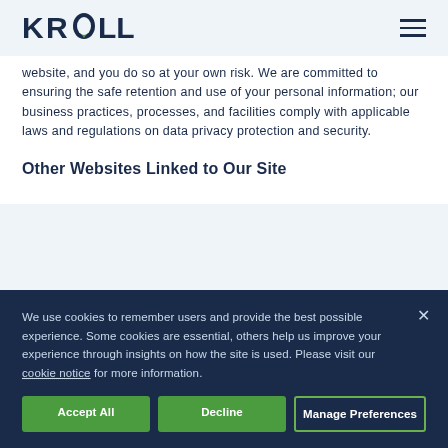KROLL
website, and you do so at your own risk. We are committed to ensuring the safe retention and use of your personal information; our business practices, processes, and facilities comply with applicable laws and regulations on data privacy protection and security.
Other Websites Linked to Our Site
We use cookies to remember users and provide the best possible experience. Some cookies are essential, others help us improve your experience through insights on how the site is used. Please visit our cookie notice for more information.
Accept All | Decline | Manage Preferences